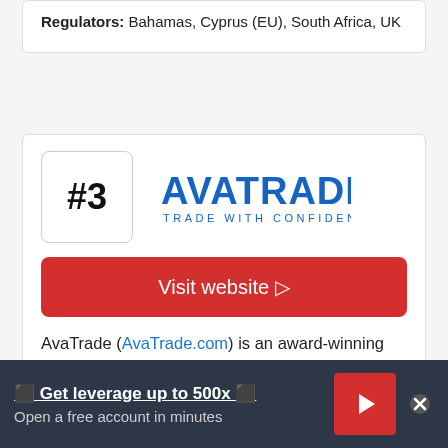Regulators: Bahamas, Cyprus (EU), South Africa, UK
#3
[Figure (logo): AvaTrade logo with text AVATRADE and tagline TRADE WITH CONFIDENCE in blue]
Visit website ▷
AvaTrade (AvaTrade.com) is an award-winning online broker. Trade CFDs on Forex, crypto-currencies, shares, metals
⬛ Get leverage up to 500x ⬛
Open a free account in minutes